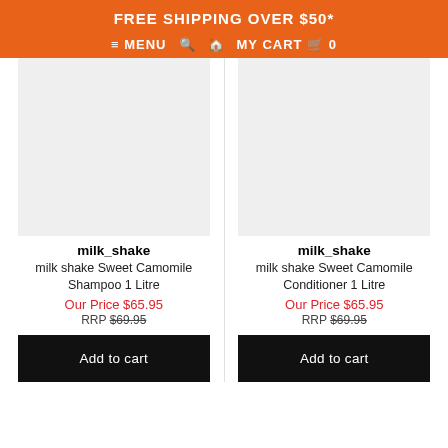FREE SHIPPING OVER $50*
≡ MENU  ⌕  ⌂  MY CART 🛒 0
[Figure (photo): Product image placeholder for milk shake Sweet Camomile Shampoo 1 Litre (grey box)]
milk_shake
milk shake Sweet Camomile Shampoo 1 Litre
Our Price $65.95
RRP $69.95
Add to cart
[Figure (photo): Product image placeholder for milk shake Sweet Camomile Conditioner 1 Litre (grey box)]
milk_shake
milk shake Sweet Camomile Conditioner 1 Litre
Our Price $65.95
RRP $69.95
Add to cart